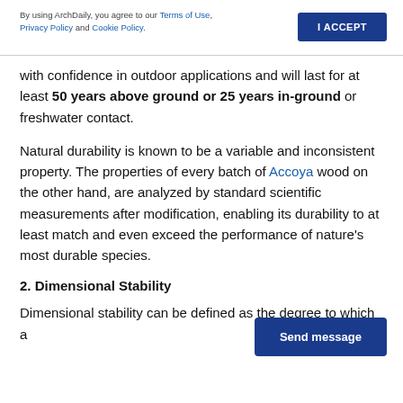By using ArchDaily, you agree to our Terms of Use, Privacy Policy and Cookie Policy. | I ACCEPT
with confidence in outdoor applications and will last for at least 50 years above ground or 25 years in-ground or freshwater contact.
Natural durability is known to be a variable and inconsistent property. The properties of every batch of Accoya wood on the other hand, are analyzed by standard scientific measurements after modification, enabling its durability to at least match and even exceed the performance of nature's most durable species.
2. Dimensional Stability
Dimensional stability can be defined as the degree to which a